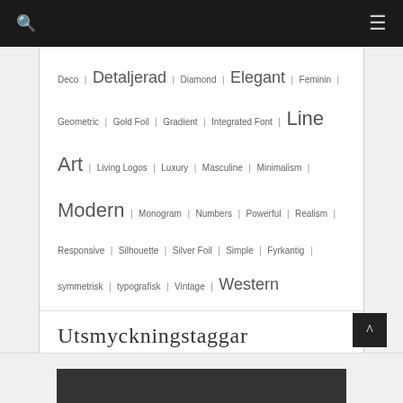Deco | Detaljerad | Diamond | Elegant | Feminin | Geometric | Gold Foil | Gradient | Integrated Font | Line Art | Living Logos | Luxury | Masculine | Minimalism | Modern | Monogram | Numbers | Powerful | Realism | Responsive | Silhouette | Silver Foil | Simple | Fyrkantig | symmetrisk | typografisk | Vintage | Western
Utsmyckningstaggar
Typografi Taggar